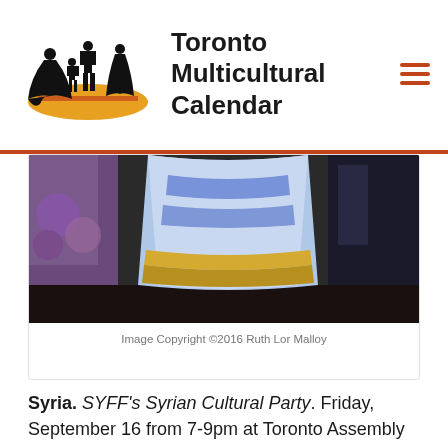[Figure (logo): Toronto Multicultural Calendar logo with silhouettes of dancers and site title text]
[Figure (photo): A performer in a blue and silver traditional dress on a stage with purple flowers in the background]
Image Copyright ©2016 Ruth Lor Malloy
Syria. SYFF's Syrian Cultural Party. Friday, September 16 from 7-9pm at Toronto Assembly Hall, Colonel Sam Smith Park, corner of Kipling